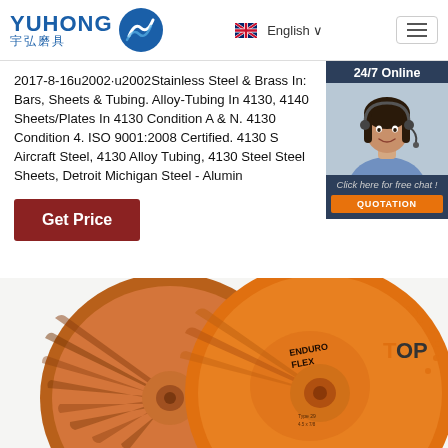YUHONG 宇弘磨具 — English
2017-8-16u2002·u2002Stainless Steel & Brass In: Bars, Sheets & Tubing. Alloy-Tubing In 4130, 4140 Sheets/Plates In 4130 Condition A & N. 4130 Condition 4. ISO 9001:2008 Certified. 4130 S Aircraft Steel, 4130 Alloy Tubing, 4130 Steel Steel Sheets, Detroit Michigan Steel - Alumin
[Figure (screenshot): 24/7 Online chat widget with customer service representative photo and QUOTATION button]
Get Price
[Figure (photo): Two orange flap discs (Enduro Flex brand abrasive grinding discs) with TOP badge overlay]